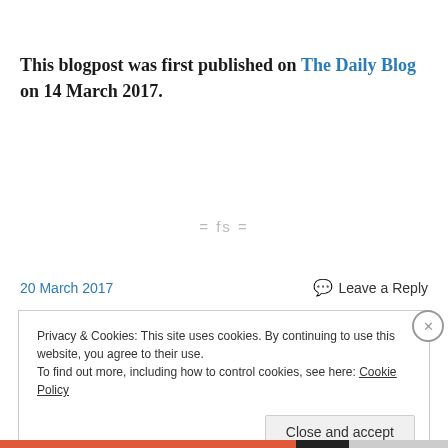This blogpost was first published on The Daily Blog on 14 March 2017.
= fs =
20 March 2017
💬 Leave a Reply
Privacy & Cookies: This site uses cookies. By continuing to use this website, you agree to their use.
To find out more, including how to control cookies, see here: Cookie Policy
Close and accept